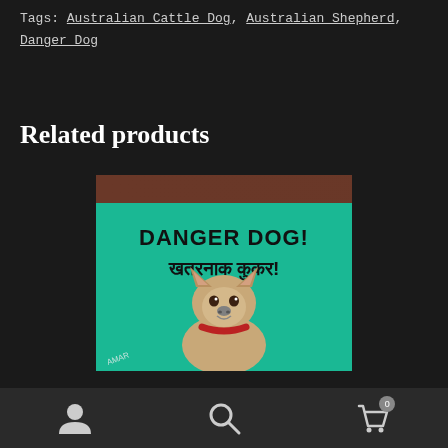Tags: Australian Cattle Dog, Australian Shepherd, Danger Dog
Related products
[Figure (illustration): Painting of a dog (Australian Cattle Dog mix) on a green background with text 'DANGER DOG!' and Hindi text खतरनाक कुकर!, signed AMAR]
Navigation bar with user, search, and cart icons